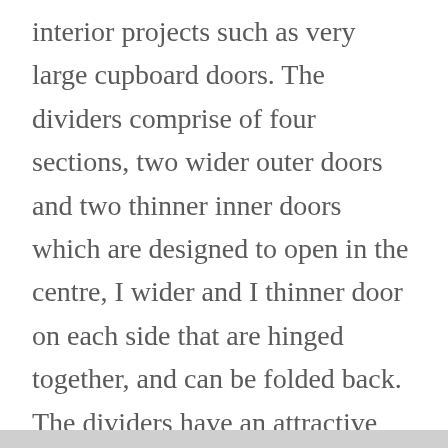interior projects such as very large cupboard doors. The dividers comprise of four sections, two wider outer doors and two thinner inner doors which are designed to open in the centre, I wider and I thinner door on each side that are hinged together, and can be folded back. The dividers have an attractive period appearance and each features recessed panels with mouldings at their base. The wider doors each have 4 glazed panels and the thinner doors have 2. The dividers are glazed with vintage textured "bobbled" glass. The glass does not meet current safety standards and will need to